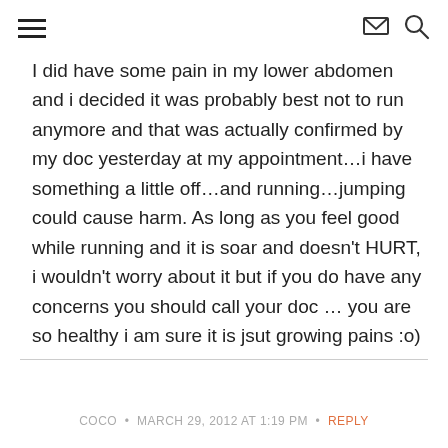[hamburger menu icon] [mail icon] [search icon]
I did have some pain in my lower abdomen and i decided it was probably best not to run anymore and that was actually confirmed by my doc yesterday at my appointment…i have something a little off…and running…jumping could cause harm. As long as you feel good while running and it is soar and doesn't HURT, i wouldn't worry about it but if you do have any concerns you should call your doc … you are so healthy i am sure it is jsut growing pains :o)
COCO • MARCH 29, 2012 AT 1:19 PM • REPLY